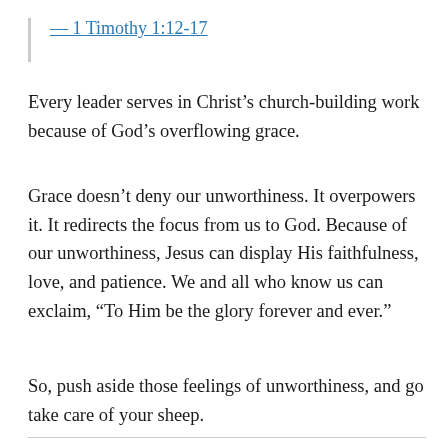— 1 Timothy 1:12-17
Every leader serves in Christ's church-building work because of God's overflowing grace.
Grace doesn't deny our unworthiness. It overpowers it. It redirects the focus from us to God. Because of our unworthiness, Jesus can display His faithfulness, love, and patience. We and all who know us can exclaim, “To Him be the glory forever and ever.”
So, push aside those feelings of unworthiness, and go take care of your sheep.